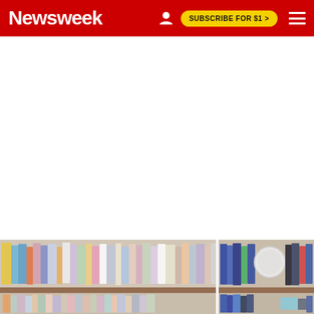Newsweek
[Figure (photo): Blurred bookshelf with colorful books arranged on wooden shelves, split into two panels side by side]